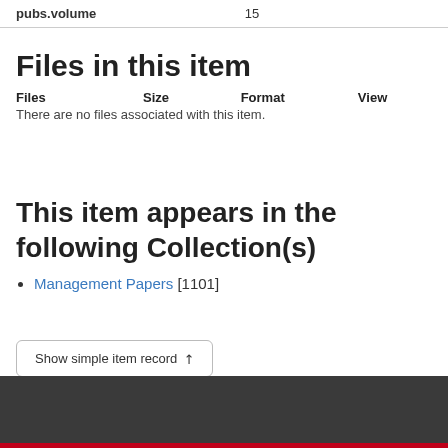| pubs.volume | 15 |
| --- | --- |
Files in this item
Files    Size    Format    View
There are no files associated with this item.
This item appears in the following Collection(s)
Management Papers [1101]
Show simple item record ↗